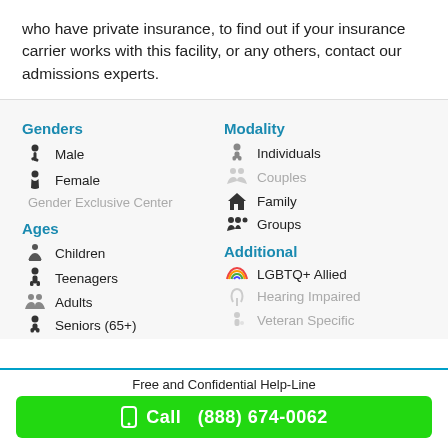who have private insurance, to find out if your insurance carrier works with this facility, or any others, contact our admissions experts.
Genders
Male
Female
Gender Exclusive Center
Ages
Children
Teenagers
Adults
Seniors (65+)
Modality
Individuals
Couples
Family
Groups
Additional
LGBTQ+ Allied
Hearing Impaired
Veteran Specific
Free and Confidential Help-Line
Call (888) 674-0062